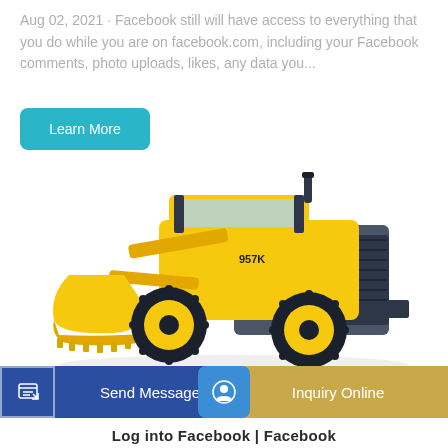Aug 02, 2021 · Facebook still will have access to everything that you do while you are on facebook.com, including your Facebook comments, photo uploads, likes, any data you...
Learn More
[Figure (photo): Yellow wheel loader / front-end loader construction machine (model 957K) on a white background, viewed from the front-left side.]
Send Message
Inquiry Online
Log into Facebook | Facebook